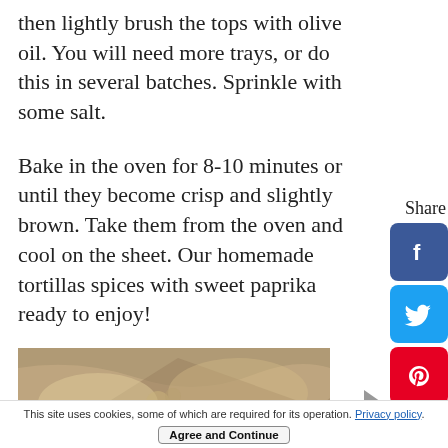then lightly brush the tops with olive oil. You will need more trays, or do this in several batches. Sprinkle with some salt.
Bake in the oven for 8-10 minutes or until they become crisp and slightly brown. Take them from the oven and cool on the sheet. Our homemade tortillas spices with sweet paprika ready to enjoy!
[Figure (screenshot): Social share sidebar with Facebook, Twitter, Pinterest, Tumblr, Reddit, and WhatsApp buttons, with a 'Share' label]
[Figure (photo): Photo of homemade tortillas on a dark surface, partially folded]
This site uses cookies, some of which are required for its operation. Privacy policy. Agree and Continue